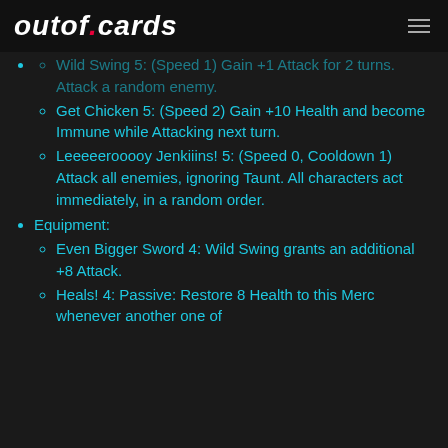outof.cards
Wild Swing 5: (Speed 1) Gain +1 Attack for 2 turns. Attack a random enemy.
Get Chicken 5: (Speed 2) Gain +10 Health and become Immune while Attacking next turn.
Leeeeerooooy Jenkiiins! 5: (Speed 0, Cooldown 1) Attack all enemies, ignoring Taunt. All characters act immediately, in a random order.
Equipment:
Even Bigger Sword 4: Wild Swing grants an additional +8 Attack.
Heals! 4: Passive: Restore 8 Health to this Merc whenever another one of